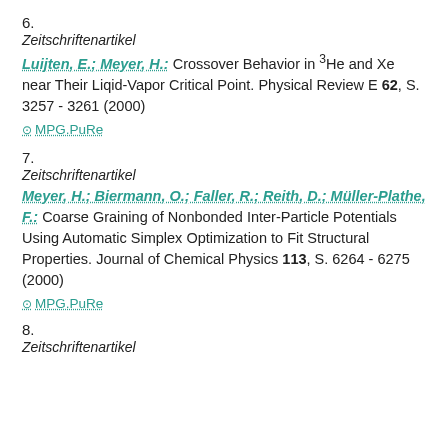6.
Zeitschriftenartikel
Luijten, E.; Meyer, H.: Crossover Behavior in 3He and Xe near Their Liqid-Vapor Critical Point. Physical Review E 62, S. 3257 - 3261 (2000)
MPG.PuRe
7.
Zeitschriftenartikel
Meyer, H.; Biermann, O.; Faller, R.; Reith, D.; Müller-Plathe, F.: Coarse Graining of Nonbonded Inter-Particle Potentials Using Automatic Simplex Optimization to Fit Structural Properties. Journal of Chemical Physics 113, S. 6264 - 6275 (2000)
MPG.PuRe
8.
Zeitschriftenartikel